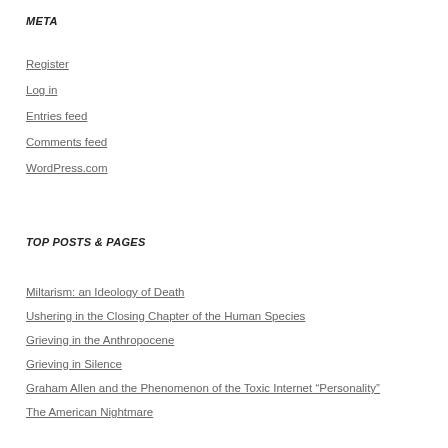META
Register
Log in
Entries feed
Comments feed
WordPress.com
TOP POSTS & PAGES
Miltarism: an Ideology of Death
Ushering in the Closing Chapter of the Human Species
Grieving in the Anthropocene
Grieving in Silence
Graham Allen and the Phenomenon of the Toxic Internet "Personality"
The American Nightmare
The Far-Right Crusade Against Human Sexuality
Greenwashing Climate Catastrophe